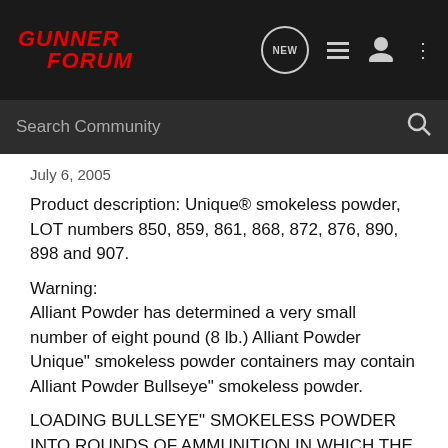[Figure (logo): Gunner Forum logo with red italic text on dark background header bar with navigation icons: NEW speech bubble, list icon, user icon, three dots menu]
[Figure (screenshot): Dark search bar with 'Search Community' placeholder text and magnifying glass icon]
July 6, 2005
Product description: Unique® smokeless powder, LOT numbers 850, 859, 861, 868, 872, 876, 890, 898 and 907.
Warning:
Alliant Powder has determined a very small number of eight pound (8 lb.) Alliant Powder Unique" smokeless powder containers may contain Alliant Powder Bullseye" smokeless powder.
LOADING BULLSEYE" SMOKELESS POWDER INTO ROUNDS OF AMMUNITION IN WHICH THE RECIPE CALLS FOR UNIQUE" SMOKELESS POWDER MAY RESULT IN HIGH PRESSURE LOADS AND SUBSEQUENT GUN